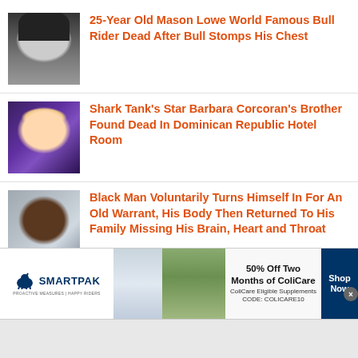25-Year Old Mason Lowe World Famous Bull Rider Dead After Bull Stomps His Chest
Shark Tank's Star Barbara Corcoran's Brother Found Dead In Dominican Republic Hotel Room
Black Man Voluntarily Turns Himself In For An Old Warrant, His Body Then Returned To His Family Missing His Brain, Heart and Throat
[Figure (infographic): SmartPak advertisement: 50% Off Two Months of ColiCare. ColiCare Eligible Supplements. CODE: COLICARE10. Shop Now button.]